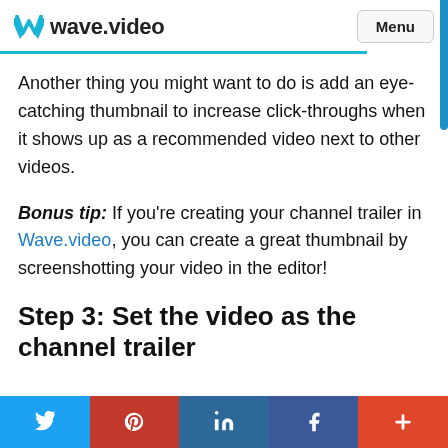wave.video  Menu
Another thing you might want to do is add an eye-catching thumbnail to increase click-throughs when it shows up as a recommended video next to other videos.
Bonus tip: If you're creating your channel trailer in Wave.video, you can create a great thumbnail by screenshotting your video in the editor!
Step 3: Set the video as the channel trailer